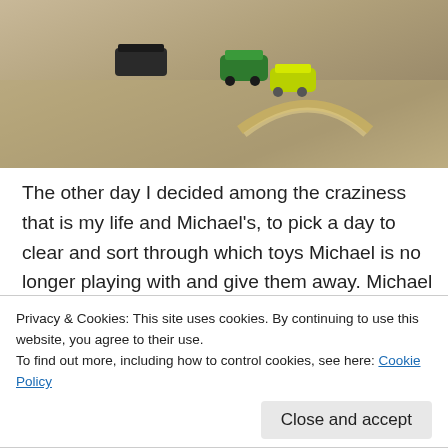[Figure (photo): Photo of toy trains and wooden track pieces on a sandy/gravelly surface. A dark rectangular train, a green train piece, and a yellow-green train are visible on curved wooden track.]
The other day I decided among the craziness that is my life and Michael's, to pick a day to clear and sort through which toys Michael is no longer playing with and give them away. Michael himself had reminded me many times since September by saying his toys were for babies and repeating that he only wanted to keep a few things. At first I thought he was joking, but then I looked into his eyes and saw how serious he was. And I thought to myself,
Privacy & Cookies: This site uses cookies. By continuing to use this website, you agree to their use.
To find out more, including how to control cookies, see here: Cookie Policy
clutter that I would eventually have to continue to tackle